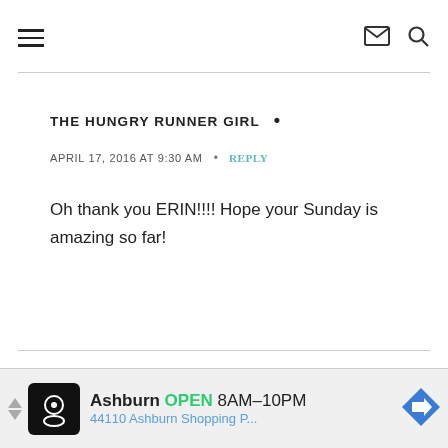THE HUNGRY RUNNER GIRL — navigation header with hamburger menu, mail icon, search icon
THE HUNGRY RUNNER GIRL •
APRIL 17, 2016 AT 9:30 AM  •  REPLY
Oh thank you ERIN!!!! Hope your Sunday is amazing so far!
[Figure (other): Advertisement bar: Ashburn OPEN 8AM-10PM, 44110 Ashburn Shopping P...]